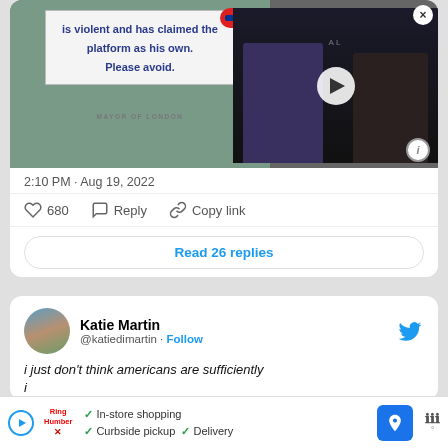[Figure (screenshot): Twitter/X screenshot showing a tweet with image of London Underground poster saying 'is violent and has claimed the platform as his own. Please avoid.' with Mayor of London branding, and overlaid video thumbnail with play button and two people.]
2:10 PM · Aug 19, 2022
680  Reply  Copy link
Read 26 replies
Katie Martin @katiedimartin · Follow
i just don't think americans are sufficiently i
In-store shopping  Curbside pickup  Delivery